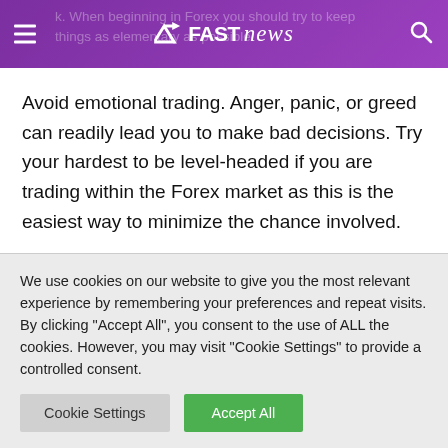FAST news — When beginning in Forex you should try to keep things as elementary as possible.
Avoid emotional trading. Anger, panic, or greed can readily lead you to make bad decisions. Try your hardest to be level-headed if you are trading within the Forex market as this is the easiest way to minimize the chance involved.
To keep your profits safe, be careful with the use of
We use cookies on our website to give you the most relevant experience by remembering your preferences and repeat visits. By clicking "Accept All", you consent to the use of ALL the cookies. However, you may visit "Cookie Settings" to provide a controlled consent.